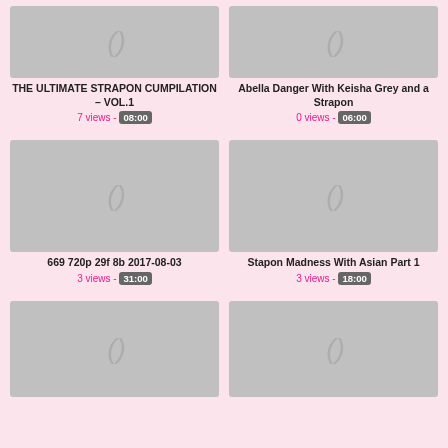[Figure (screenshot): Video thumbnail placeholder grey box with parenthesis icon]
THE ULTIMATE STRAPON CUMPILATION – VOL.1
7 views - 08:00
[Figure (screenshot): Video thumbnail placeholder grey box with parenthesis icon]
Abella Danger With Keisha Grey and a Strapon
0 views - 06:00
[Figure (screenshot): Video thumbnail placeholder grey box with parenthesis icon]
669 720p 29f 8b 2017-08-03
3 views - 31:00
[Figure (screenshot): Video thumbnail placeholder grey box with parenthesis icon]
Stapon Madness With Asian Part 1
3 views - 18:00
[Figure (screenshot): Video thumbnail placeholder grey box with parenthesis icon]
[Figure (screenshot): Video thumbnail placeholder grey box with parenthesis icon]